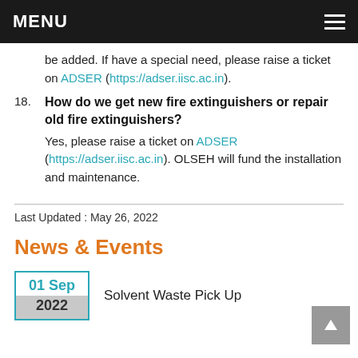MENU
be added. If have a special need, please raise a ticket on ADSER (https://adser.iisc.ac.in).
18. How do we get new fire extinguishers or repair old fire extinguishers? Yes, please raise a ticket on ADSER (https://adser.iisc.ac.in). OLSEH will fund the installation and maintenance.
Last Updated : May 26, 2022
News & Events
01 Sep 2022 Solvent Waste Pick Up